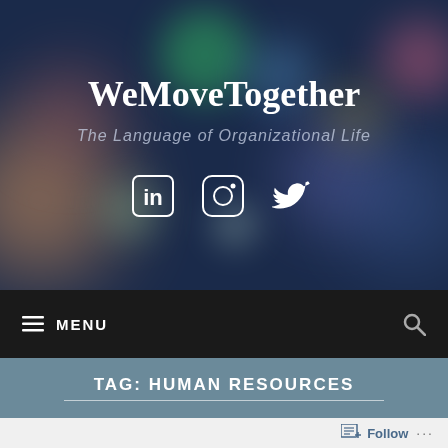[Figure (screenshot): Website header banner for WeMoveTogether blog with bokeh background, social media icons (LinkedIn, Instagram, Twitter)]
WeMoveTogether
The Language of Organizational Life
≡ MENU
TAG: HUMAN RESOURCES
Follow ...